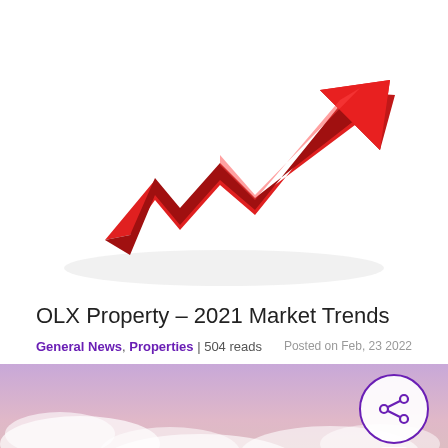[Figure (illustration): 3D red zigzag arrow trending upward sharply, representing market growth trends, on white background]
OLX Property – 2021 Market Trends
General News, Properties | 504 reads   Posted on Feb, 23 2022
[Figure (photo): Aerial photo of clouds and sky with purple/pink hues, with a share icon button (circle with share symbol) showing count 0]